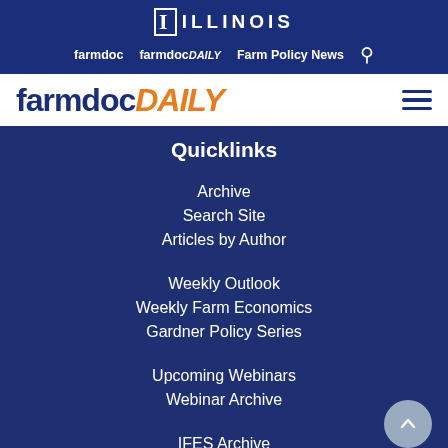ILLINOIS
farmdoc | farmdocDAILY | Farm Policy News
[Figure (logo): farmdocDAILY logo with hamburger menu icon]
Quicklinks
Archive
Search Site
Articles by Author
Weekly Outlook
Weekly Farm Economics
Gardner Policy Series
Upcoming Webinars
Webinar Archive
IFES Archive